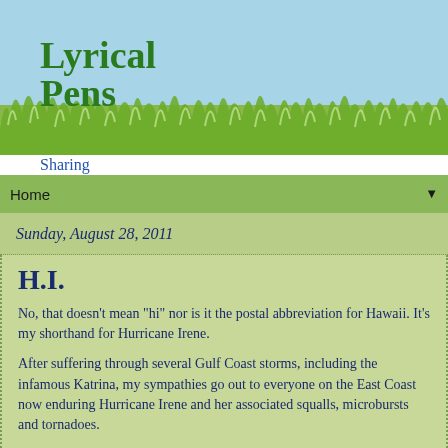Lyrical Pens
Sharing the music of words ...
Home ▼
Sunday, August 28, 2011
H.I.
No, that doesn't mean "hi" nor is it the postal abbreviation for Hawaii. It's my shorthand for Hurricane Irene.
After suffering through several Gulf Coast storms, including the infamous Katrina, my sympathies go out to everyone on the East Coast now enduring Hurricane Irene and her associated squalls, microbursts and tornadoes.
I spent a delightful weekend (with Tracy Hurley) on Connecticut's